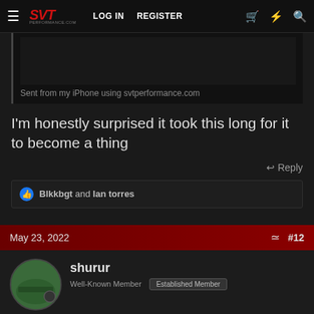SVT Performance | LOG IN  REGISTER
[Figure (screenshot): Quoted post image area, dark/black, partially visible]
Sent from my iPhone using svtperformance.com
I'm honestly surprised it took this long for it to become a thing
Reply
Blkkbgt and Ian torres
May 23, 2022  #12
shurur
Well-Known Member  Established Member